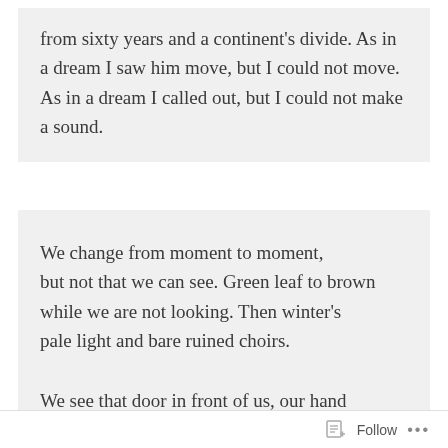from sixty years and a continent's divide. As in a dream I saw him move, but I could not move. As in a dream I called out, but I could not make
a sound.
We change from moment to moment,
but not that we can see. Green leaf to brown
while we are not looking. Then winter's
pale light and bare ruined choirs.
We see that door in front of us, our hand
Follow  ...